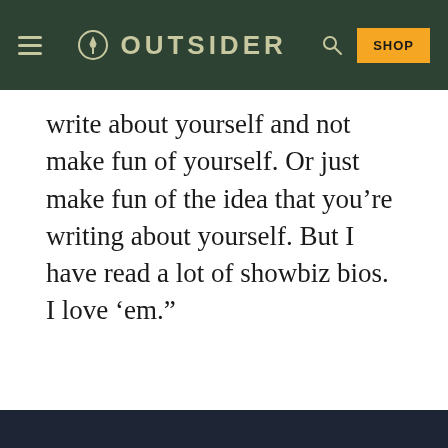OUTSIDER
write about yourself and not make fun of yourself. Or just make fun of the idea that you’re writing about yourself. But I have read a lot of showbiz bios. I love ‘em.”
[Figure (other): ADVERTISEMENT placeholder block]